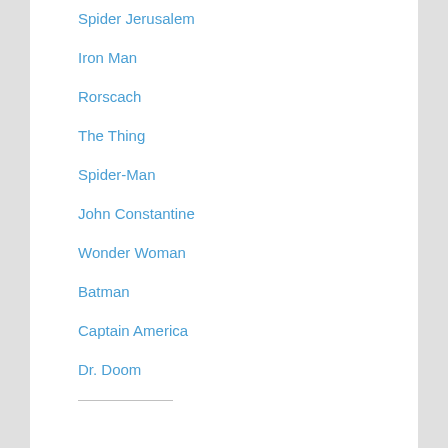Spider Jerusalem
Iron Man
Rorscach
The Thing
Spider-Man
John Constantine
Wonder Woman
Batman
Captain America
Dr. Doom